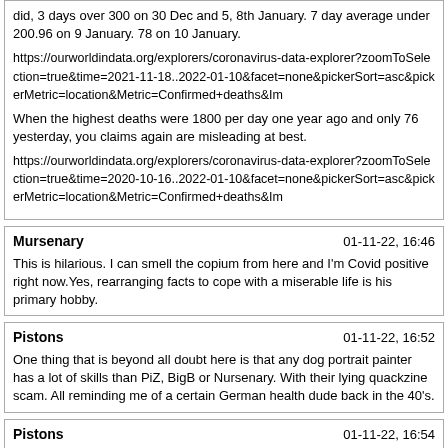did, 3 days over 300 on 30 Dec and 5, 8th January. 7 day average under 200.96 on 9 January. 78 on 10 January.

https://ourworldindata.org/explorers/coronavirus-data-explorer?zoomToSelection=true&time=2021-11-18..2022-01-10&facet=none&pickerSort=asc&pickerMetric=location&Metric=Confirmed+deaths&Im

When the highest deaths were 1800 per day one year ago and only 76 yesterday, you claims again are misleading at best.

https://ourworldindata.org/explorers/coronavirus-data-explorer?zoomToSelection=true&time=2020-10-16..2022-01-10&facet=none&pickerSort=asc&pickerMetric=location&Metric=Confirmed+deaths&Im
Mursenary | 01-11-22, 16:46
This is hilarious. I can smell the copium from here and I'm Covid positive right now.Yes, rearranging facts to cope with a miserable life is his primary hobby.
Pistons | 01-11-22, 16:52
One thing that is beyond all doubt here is that any dog portrait painter has a lot of skills than PiZ, BigB or Nursenary. With their lying quackzine scam. All reminding me of a certain German health dude back in the 40's.
Pistons | 01-11-22, 16:54
They should all be ashamed of themselves! I bet they deny the holocaust too considering how they now play the same game with health passes etc.
Mursenary | 01-11-22, 16:55
Takedown / Mursenary just has psychological issues related to his attachment